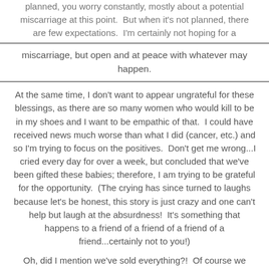planned, you worry constantly, mostly about a potential miscarriage at this point.  But when it's not planned, there are few expectations.  I'm certainly not hoping for a
miscarriage, but open and at peace with whatever may happen.
At the same time, I don't want to appear ungrateful for these blessings, as there are so many women who would kill to be in my shoes and I want to be empathic of that.  I could have received news much worse than what I did (cancer, etc.) and so I'm trying to focus on the positives.  Don't get me wrong...I cried every day for over a week, but concluded that we've been gifted these babies; therefore, I am trying to be grateful for the opportunity.  (The crying has since turned to laughs because let's be honest, this story is just crazy and one can't help but laugh at the absurdness!  It's something that happens to a friend of a friend of a friend of a friend...certainly not to you!)
Oh, did I mention we've sold everything?!  Of course we have!  The last of our baby things as recently as January, the same month we would have conceived.  Life can be so ironic.